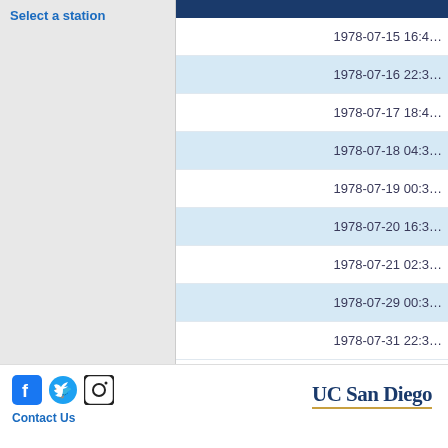Select a station
| [timestamp] |
| --- |
| 1978-07-15 16:4… |
| 1978-07-16 22:3… |
| 1978-07-17 18:4… |
| 1978-07-18 04:3… |
| 1978-07-19 00:3… |
| 1978-07-20 16:3… |
| 1978-07-21 02:3… |
| 1978-07-29 00:3… |
| 1978-07-31 22:3… |
Contact Us | UC San Diego